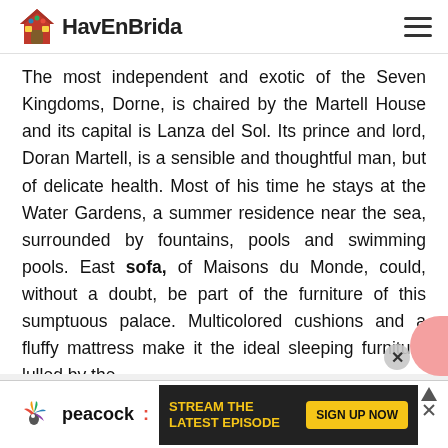HavEnBrida
The most independent and exotic of the Seven Kingdoms, Dorne, is chaired by the Martell House and its capital is Lanza del Sol. Its prince and lord, Doran Martell, is a sensible and thoughtful man, but of delicate health. Most of his time he stays at the Water Gardens, a summer residence near the sea, surrounded by fountains, pools and swimming pools. East sofa, of Maisons du Monde, could, without a doubt, be part of the furniture of this sumptuous palace. Multicolored cushions and a fluffy mattress make it the ideal sleeping furniture lulled by the
[Figure (screenshot): Peacock streaming advertisement banner: dark background with yellow text 'STREAM THE LATEST EPISODE' and yellow 'SIGN UP NOW' button, with Peacock logo on left side.]